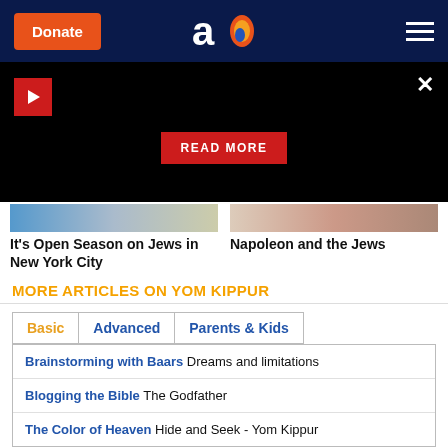Donate | Aish logo | Menu
[Figure (screenshot): Black video banner with play button (red), close X, and READ MORE red button]
It's Open Season on Jews in New York City
Napoleon and the Jews
MORE ARTICLES ON YOM KIPPUR
Basic | Advanced | Parents & Kids
Brainstorming with Baars Dreams and limitations
Blogging the Bible The Godfather
The Color of Heaven Hide and Seek - Yom Kippur